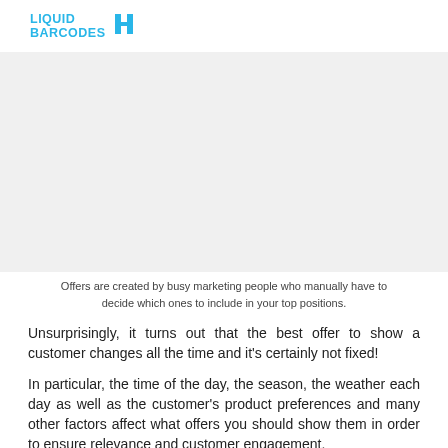LIQUID BARCODES
[Figure (other): Gray placeholder image area]
Offers are created by busy marketing people who manually have to decide which ones to include in your top positions.
Unsurprisingly, it turns out that the best offer to show a customer changes all the time and it's certainly not fixed!
In particular, the time of the day, the season, the weather each day as well as the customer's product preferences and many other factors affect what offers you should show them in order to ensure relevance and customer engagement.
It's a big task, perfect for a powerful machine-led algorithm that can automate, optimise and continually